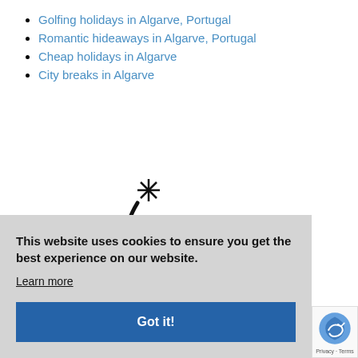Golfing holidays in Algarve, Portugal
Romantic hideaways in Algarve, Portugal
Cheap holidays in Algarve
City breaks in Algarve
[Figure (logo): Holiday Homes logo with a stylized number 6 and starburst icon, text reads 'holiday homes']
This website uses cookies to ensure you get the best experience on our website. Learn more
Got it!